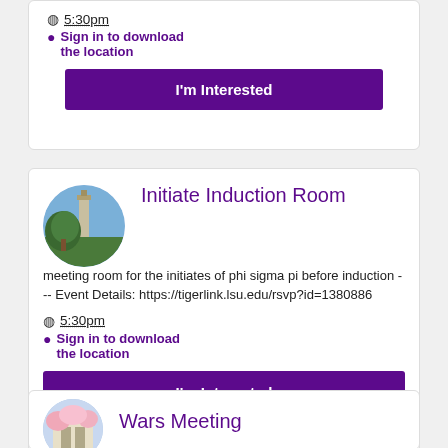5:30pm
Sign in to download the location
I'm Interested
[Figure (photo): Circular photo of LSU campus with a tower and a large tree against a blue sky]
Initiate Induction Room
meeting room for the initiates of phi sigma pi before induction --- Event Details: https://tigerlink.lsu.edu/rsvp?id=1380886
5:30pm
Sign in to download the location
I'm Interested
[Figure (photo): Circular photo of a building with cherry blossoms]
Wars Meeting